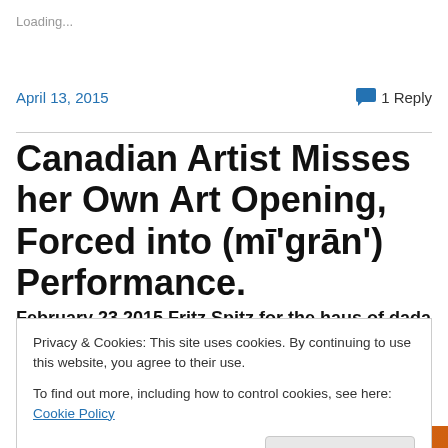Loading...
April 13, 2015
1 Reply
Canadian Artist Misses her Own Art Opening, Forced into (mī'grān') Performance.
February 23 2015 Fritz Spitz for the haus of dada
Privacy & Cookies: This site uses cookies. By continuing to use this website, you agree to their use.
To find out more, including how to control cookies, see here: Cookie Policy
Close and accept